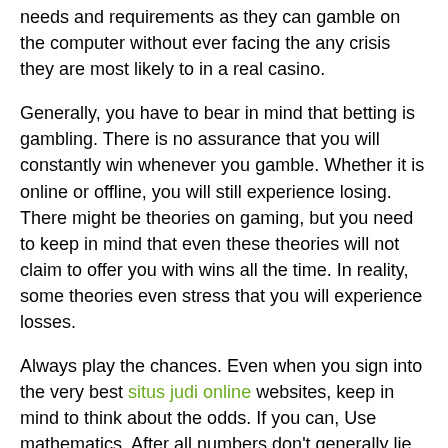needs and requirements as they can gamble on the computer without ever facing the any crisis they are most likely to in a real casino.
Generally, you have to bear in mind that betting is gambling. There is no assurance that you will constantly win whenever you gamble. Whether it is online or offline, you will still experience losing. There might be theories on gaming, but you need to keep in mind that even these theories will not claim to offer you with wins all the time. In reality, some theories even stress that you will experience losses.
Always play the chances. Even when you sign into the very best situs judi online websites, keep in mind to think about the odds. If you can, Use mathematics. After all numbers don't generally lie and mathematical methods are typically effective. This is more true of gambling establishment and online video games of opportunity which are created on the basis of percentages and likelihoods.
If the people around you are bettors, then there is a huge